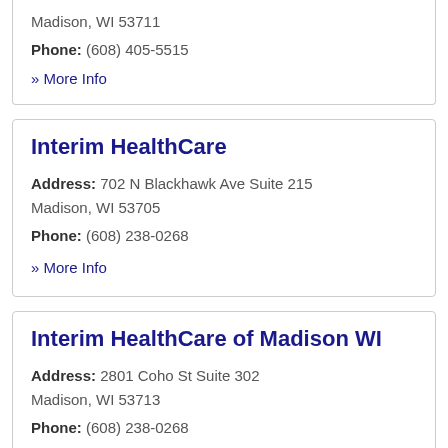Madison, WI 53711
Phone: (608) 405-5515
» More Info
Interim HealthCare
Address: 702 N Blackhawk Ave Suite 215
Madison, WI 53705
Phone: (608) 238-0268
» More Info
Interim HealthCare of Madison WI
Address: 2801 Coho St Suite 302
Madison, WI 53713
Phone: (608) 238-0268